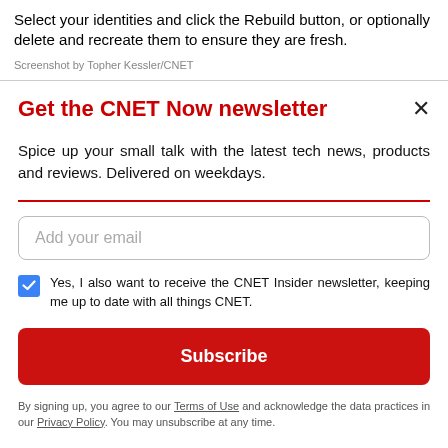Select your identities and click the Rebuild button, or optionally delete and recreate them to ensure they are fresh.
Screenshot by Topher Kessler/CNET
[Figure (screenshot): CNET Now newsletter signup modal with title, description, email input, checkbox, subscribe button, and privacy note]